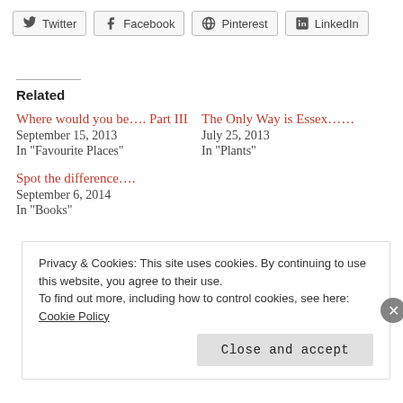Twitter
Facebook
Pinterest
LinkedIn
Related
Where would you be…. Part III
September 15, 2013
In "Favourite Places"
The Only Way is Essex……
July 25, 2013
In "Plants"
Spot the difference….
September 6, 2014
In "Books"
Privacy & Cookies: This site uses cookies. By continuing to use this website, you agree to their use.
To find out more, including how to control cookies, see here: Cookie Policy